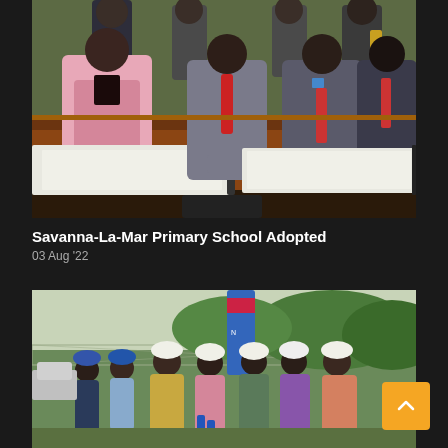[Figure (photo): Officials seated at a conference table signing documents, with others standing behind them. A woman in a pink blazer is prominently signing on the left.]
Savanna-La-Mar Primary School Adopted
03 Aug '22
[Figure (photo): Group of people outdoors wearing hard hats at what appears to be a groundbreaking ceremony, with a blue and pink branded banner in the background.]